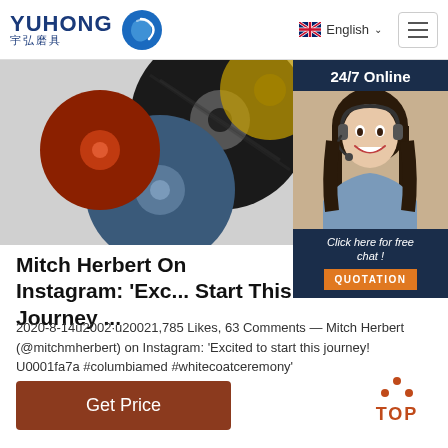[Figure (logo): Yuhong logo with blue wave icon and Chinese text 宇弘磨具]
[Figure (screenshot): Navigation bar with English language selector and hamburger menu]
[Figure (photo): Grinding/cutting disc products photographed from above, partially visible]
[Figure (photo): 24/7 Online chat widget with photo of female customer service representative wearing headset, Click here for free chat button, and QUOTATION orange button]
Mitch Herbert On Instagram: 'Exc... Start This Journey ...
2020-8-14u2002·u20021,785 Likes, 63 Comments — Mitch Herbert (@mitchmherbert) on Instagram: 'Excited to start this journey! U0001fa7a #columbiamed #whitecoatceremony'
[Figure (other): Get Price button in dark reddish-brown]
[Figure (other): TOP back-to-top button with orange dots and text]